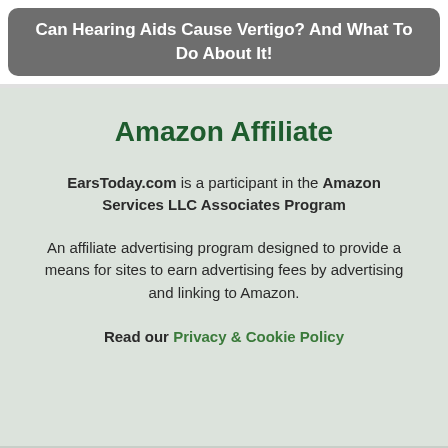Can Hearing Aids Cause Vertigo? And What To Do About It!
Amazon Affiliate
EarsToday.com is a participant in the Amazon Services LLC Associates Program
An affiliate advertising program designed to provide a means for sites to earn advertising fees by advertising and linking to Amazon.
Read our Privacy & Cookie Policy